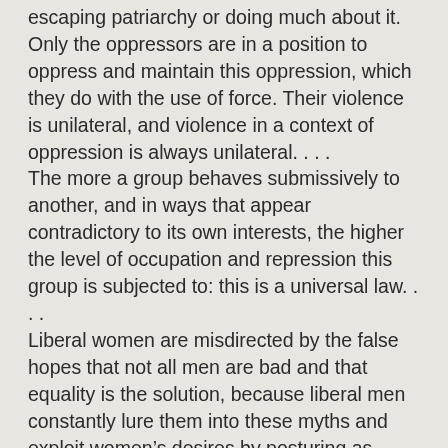escaping patriarchy or doing much about it. Only the oppressors are in a position to oppress and maintain this oppression, which they do with the use of force. Their violence is unilateral, and violence in a context of oppression is always unilateral. . . .
The more a group behaves submissively to another, and in ways that appear contradictory to its own interests, the higher the level of occupation and repression this group is subjected to: this is a universal law. . . .
Liberal women are misdirected by the false hopes that not all men are bad and that equality is the solution, because liberal men constantly lure them into these myths and exploit women's desires by posturing as allies and mimicking feminist discourse. . . .
When we talk about women betraying women